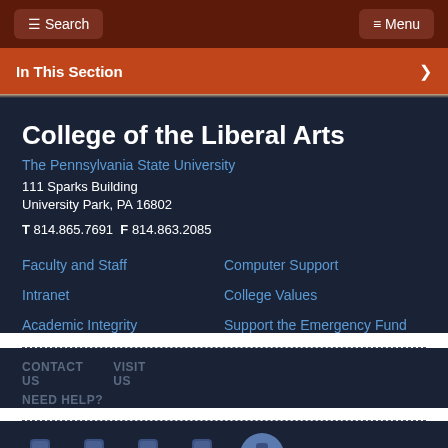Search | Menu
In This Section
College of the Liberal Arts
The Pennsylvania State University
111 Sparks Building
University Park, PA 16802
T 814.865.7691  F 814.863.2085
Faculty and Staff
Intranet
Academic Integrity
Computer Support
College Values
Support the Emergency Fund
CONTACT US  VISIT US  NEED HELP?